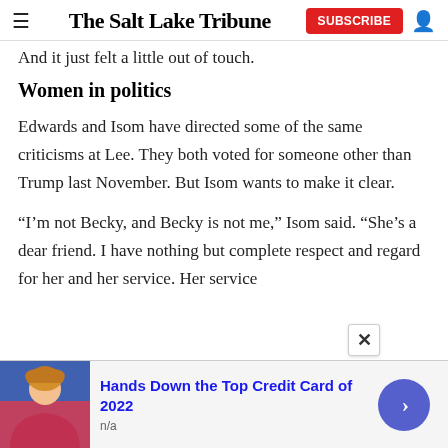The Salt Lake Tribune
And it just felt a little out of touch.
Women in politics
Edwards and Isom have directed some of the same criticisms at Lee. They both voted for someone other than Trump last November. But Isom wants to make it clear.
“I’m not Becky, and Becky is not me,” Isom said. “She’s a dear friend. I have nothing but complete respect and regard for her and her service. Her service
[Figure (infographic): Advertisement banner: Hands Down the Top Credit Card of 2022, n/a, with a photo of a woman holding a credit card and a blue arrow button]